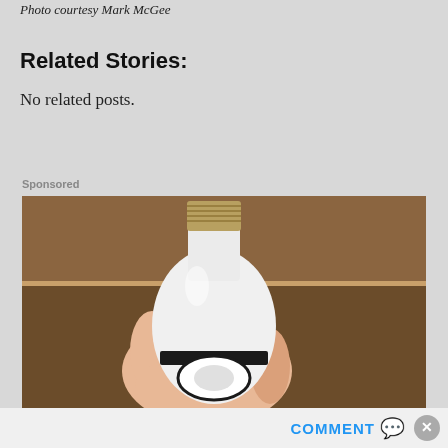Photo courtesy Mark McGee
Related Stories:
No related posts.
Sponsored
[Figure (photo): A hand holding a white smart light bulb with a black band and camera lens, showing the metal screw base at top, against a wooden background.]
COMMENT